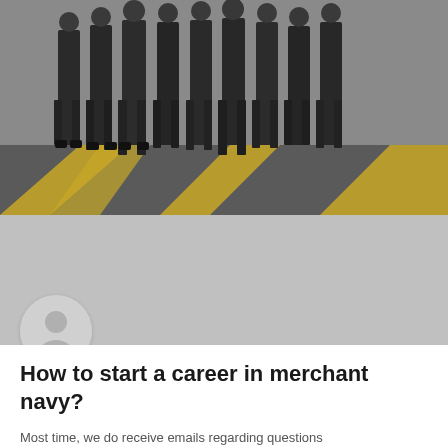[Figure (photo): Group of people in dark uniforms/suits standing on a tarmac surface with yellow road markings, viewed from the legs/feet area upward.]
[Figure (illustration): Gray placeholder banner area with a circular avatar/profile icon showing a generic person silhouette.]
How to start a career in merchant navy?
Most time, we do receive emails regarding questions